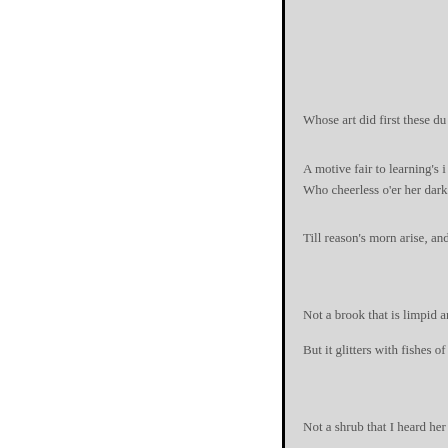Whose art did first these du
A motive fair to learning's i
Who cheerless o'er her dark
Till reason's morn arise, and
Not a brook that is limpid and
But it glitters with fishes of go
Not a shrub that I heard her ad
But I hasted and planted it the
O how sudden the jessamine s
With the lilac to render it gay
Already it calls for my love a